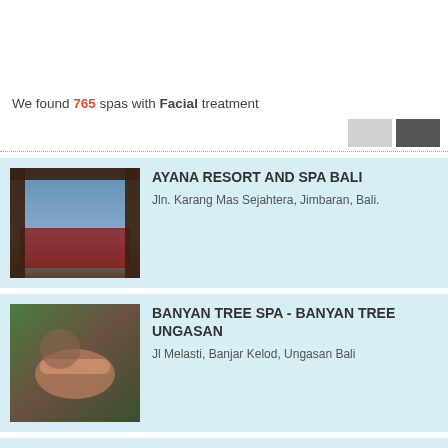We found 765 spas with Facial treatment
AYANA RESORT AND SPA BALI
Jln. Karang Mas Sejahtera, Jimbaran, Bali.
BANYAN TREE SPA - BANYAN TREE UNGASAN
Jl Melasti, Banjar Kelod, Ungasan Bali
BLISS SANCTUARY - FOR WOMEN
Berawa, Canggu, Bali